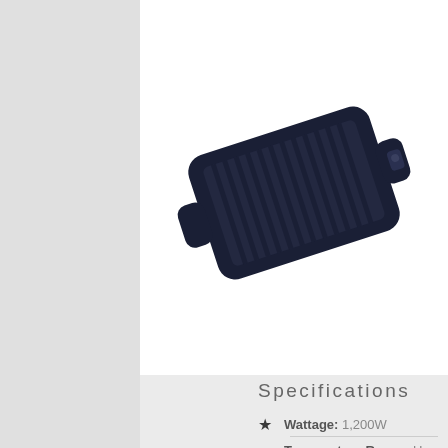[Figure (photo): Dark navy blue electric grill/griddle with ridged cooking surface, angled view on white background]
Specifications
Wattage: 1,200W
Temperature Range: Up to 400F
Material Type: Copper
Non-Stick Surface: ✓
Removable Lid: ✗
Warranty: 2-year